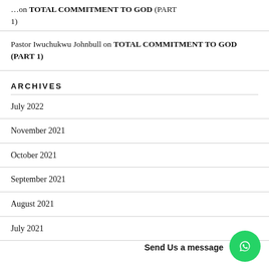…on TOTAL COMMITMENT TO GOD (PART 1)
Pastor Iwuchukwu Johnbull on TOTAL COMMITMENT TO GOD (PART 1)
ARCHIVES
July 2022
November 2021
October 2021
September 2021
August 2021
July 2021
Send Us a message